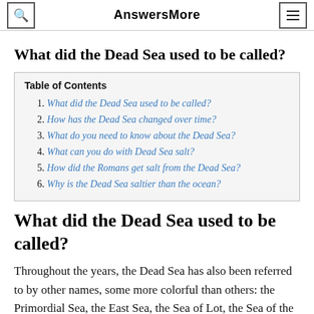AnswersMore
What did the Dead Sea used to be called?
| Table of Contents |
| --- |
| 1. What did the Dead Sea used to be called? |
| 2. How has the Dead Sea changed over time? |
| 3. What do you need to know about the Dead Sea? |
| 4. What can you do with Dead Sea salt? |
| 5. How did the Romans get salt from the Dead Sea? |
| 6. Why is the Dead Sea saltier than the ocean? |
What did the Dead Sea used to be called?
Throughout the years, the Dead Sea has also been referred to by other names, some more colorful than others: the Primordial Sea, the East Sea, the Sea of Lot, the Sea of the Arabah, the Sea of Sodom, the Stinking